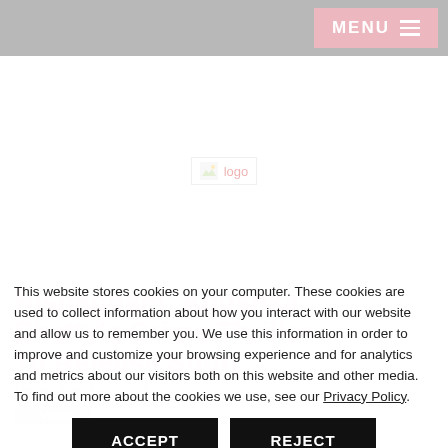MENU
[Figure (logo): Website logo placeholder image]
Nishabdam: Anushka Shetty's Crime Thriller To Release Soon
December 3rd, 2019
0 Views
This website stores cookies on your computer. These cookies are used to collect information about how you interact with our website and allow us to remember you. We use this information in order to improve and customize your browsing experience and for analytics and metrics about our visitors both on this website and other media. To find out more about the cookies we use, see our Privacy Policy.
ACCEPT
REJECT